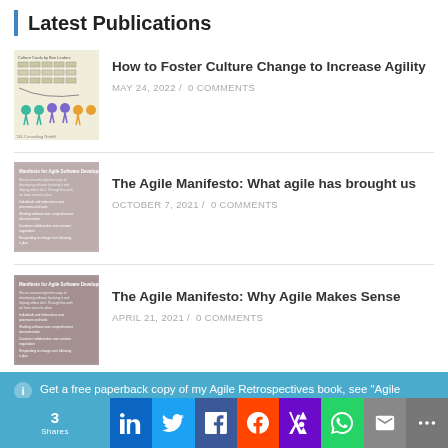Latest Publications
[Figure (illustration): Thumbnail image of Culture Cards by Ben Linders publication, showing organizational chart boxes and colored figure icons]
How to Foster Culture Change to Increase Agility
MAY 24, 2022 / 0 COMMENTS
[Figure (illustration): Thumbnail image of Manifesto for Agile Software Development publication with text content]
The Agile Manifesto: What agile has brought us
OCTOBER 7, 2021 / 0 COMMENTS
[Figure (illustration): Thumbnail image of Manifesto for Agile Software Development publication with text content]
The Agile Manifesto: Why Agile Makes Sense
APRIL 21, 2021 / 0 COMMENTS
Get a free paperback copy of my Agile Retrospectives book, see "Agile Coaching Tools"
3 Shares